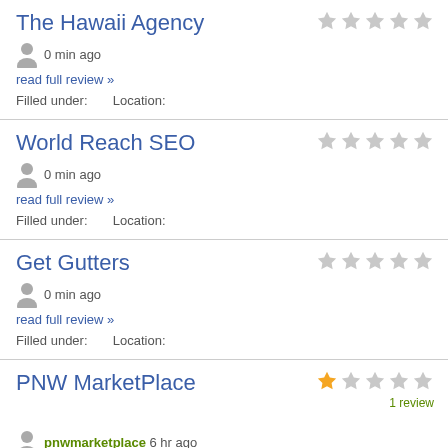The Hawaii Agency
0 min ago
read full review »
Filled under:   Location:
World Reach SEO
0 min ago
read full review »
Filled under:   Location:
Get Gutters
0 min ago
read full review »
Filled under:   Location:
PNW MarketPlace
1 review
pnwmarketplace 6 hr ago
Owner Name: Greg Baker Keywords: Pet supplies and products